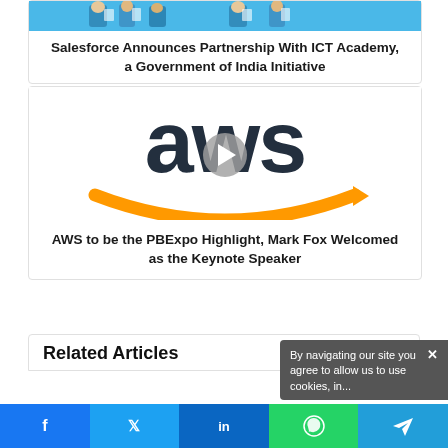[Figure (photo): Top card with image strip showing people holding documents (partial, cropped at top)]
Salesforce Announces Partnership With ICT Academy, a Government of India Initiative
[Figure (logo): AWS logo with play button overlay — amazon web services logo with orange swoosh arrow and dark 'aws' text]
AWS to be the PBExpo Highlight, Mark Fox Welcomed as the Keynote Speaker
Related Articles
By navigating our site you agree to allow us to use cookies, in...
[Figure (infographic): Social share bar with Facebook, Twitter, LinkedIn, WhatsApp, Telegram buttons]